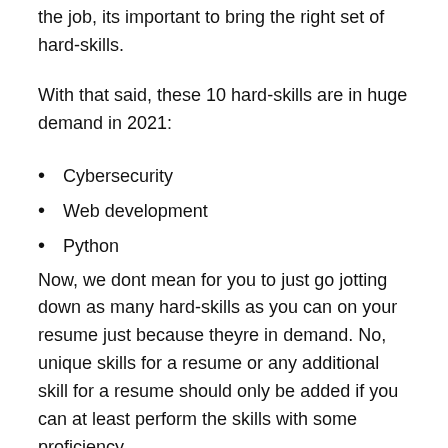the job, its important to bring the right set of hard-skills.
With that said, these 10 hard-skills are in huge demand in 2021:
Cybersecurity
Web development
Python
Now, we dont mean for you to just go jotting down as many hard-skills as you can on your resume just because theyre in demand. No, unique skills for a resume or any additional skill for a resume should only be added if you can at least perform the skills with some proficiency.
Another good way to decide what skill to add on your skill summary is by asking yourself this question, Would I be able to answer a hiring managers in depth questions about such skill. If not, then omit it from your resume and you should att